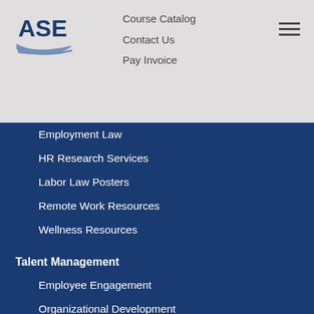[Figure (logo): ASE logo with stylized blue/grey design]
Course Catalog
Contact Us
Pay Invoice
Employment Law
HR Research Services
Labor Law Posters
Remote Work Resources
Wellness Resources
Talent Management
Employee Engagement
Organizational Development
Pre-Employment Services
Staffing Services
Training and Development
ASE Open Enrollment Training
Certification Curriculums
Coaching and Leadership Development